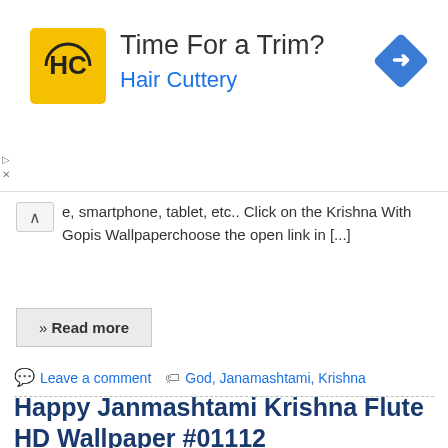[Figure (screenshot): Advertisement banner for Hair Cuttery with yellow square logo showing HC, title 'Time For a Trim?', subtitle 'Hair Cuttery' in blue, and a blue navigation diamond icon on the right.]
e, smartphone, tablet, etc.. Click on the Krishna With Gopis Wallpaperchoose the open link in [...]
» Read more
Leave a comment   God, Janamashtami, Krishna
Happy Janmashtami Krishna Flute HD Wallpaper #01112
22/08/2016   Sharan Pal Sethi   Festival
[Figure (photo): Partial image of Krishna flute wallpaper, showing bottom portion cut off]